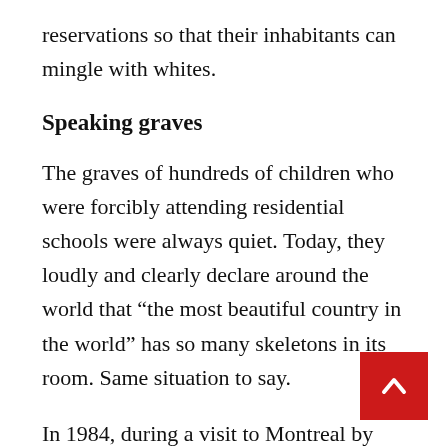reservations so that their inhabitants can mingle with whites.
Speaking graves
The graves of hundreds of children who were forcibly attending residential schools were always quiet. Today, they loudly and clearly declare around the world that “the most beautiful country in the world” has so many skeletons in its room. Same situation to say.
In 1984, during a visit to Montreal by Pope John Paul II, he spoke in favor of Canadian unity, but no one spoke of aborigines. Millions of voices were heard today for Pope Francis to apologize on behalf of the Catholic Church for the abuse of children in residential schools.
The governor-general, neither male nor female, has so far